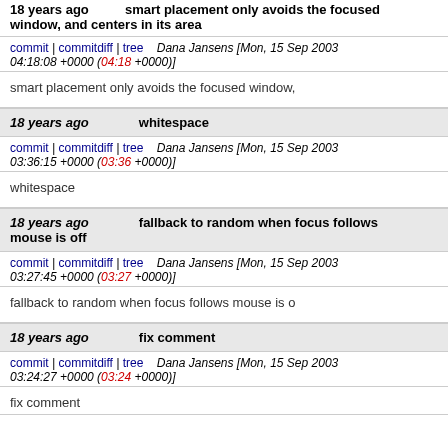18 years ago   smart placement only avoids the focused window, and centers in its area
commit | commitdiff | tree   Dana Jansens [Mon, 15 Sep 2003 04:18:08 +0000 (04:18 +0000)]
smart placement only avoids the focused window,
18 years ago   whitespace
commit | commitdiff | tree   Dana Jansens [Mon, 15 Sep 2003 03:36:15 +0000 (03:36 +0000)]
whitespace
18 years ago   fallback to random when focus follows mouse is off
commit | commitdiff | tree   Dana Jansens [Mon, 15 Sep 2003 03:27:45 +0000 (03:27 +0000)]
fallback to random when focus follows mouse is o
18 years ago   fix comment
commit | commitdiff | tree   Dana Jansens [Mon, 15 Sep 2003 03:24:27 +0000 (03:24 +0000)]
fix comment